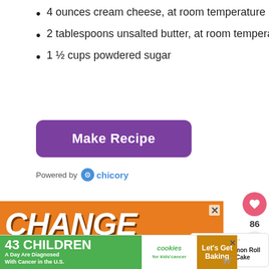4 ounces cream cheese, at room temperature
2 tablespoons unsalted butter, at room temperature
1 ½ cups powdered sugar
[Figure (screenshot): Purple 'Make Recipe' button with rounded corners, followed by 'Powered by chicory' branding text]
[Figure (infographic): Orange advertisement banner with text 'CHANGE A' and a black dog image with heart outlines]
[Figure (infographic): Green advertisement banner: '43 CHILDREN A Day Are Diagnosed With Cancer in the U.S.' with cookies for kids cancer logo and 'Let's Get Baking' on brown background]
[Figure (screenshot): WHAT'S NEXT arrow with Cinnamon Roll Layer Cake preview thumbnail]